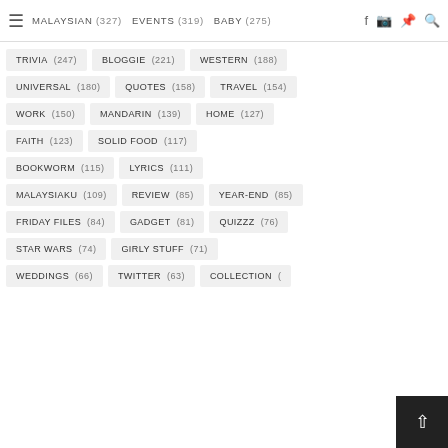MALAYSIAN (327) EVENTS (319) BABY (275)
TRIVIA (247) BLOGGIE (221) WESTERN (188)
UNIVERSAL (180) QUOTES (158) TRAVEL (154)
WORK (150) MANDARIN (139) HOME (127)
FAITH (123) SOLID FOOD (117)
BOOKWORM (115) LYRICS (111)
MALAYSIAKU (109) REVIEW (85) YEAR-END (85)
FRIDAY FILES (84) GADGET (81) QUIZZZ (76)
STAR WARS (74) GIRLY STUFF (71)
WEDDINGS (66) TWITTER (63) COLLECTION (…)